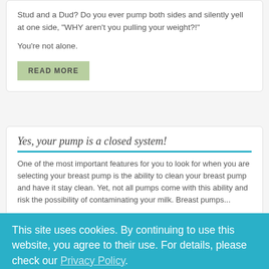Stud and a Dud? Do you ever pump both sides and silently yell at one side, "WHY aren't you pulling your weight?!"
You're not alone.
READ MORE
Yes, your pump is a closed system!
One of the most important features for you to look for when you are selecting your breast pump is the ability to clean your breast pump and have it stay clean. Yet, not all pumps come with this ability and risk the possibility of contaminating your milk. Breast pumps...
This site uses cookies. By continuing to use this website, you agree to their use. For details, please check our Privacy Policy.
Okay
Keeping Up Your Milk Supply When You Are Stressed
When you are scared, anxious, or stressed, the stress hormones (mainly Adrenaline, Cortisol, and Norepinephrine)